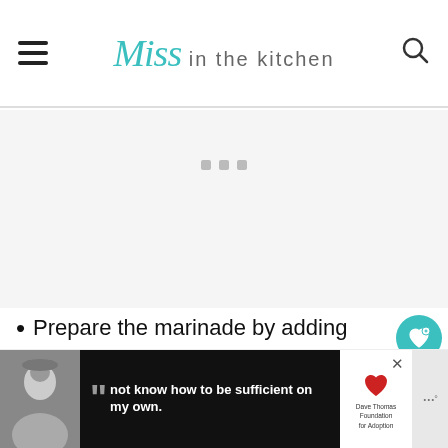Miss in the kitchen
[Figure (other): Advertisement placeholder with three gray dots]
Prepare the marinade by adding brewed coffee, brown sugar, Worcestershire sauce, Italian seasonings, smoked paprika, and salt to a saucepan.
[Figure (other): Social sidebar with heart button showing 651 saves and a share button]
[Figure (other): What's Next promo for Smoked Sausage Pizza with circular food image]
[Figure (other): Bottom advertisement banner with person image, quote 'not know how to be sufficient on my own.', Dave Thomas Foundation for Adoption logo]